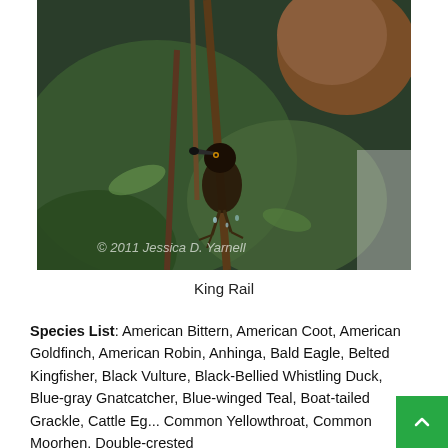[Figure (photo): Close-up photograph of a King Rail bird with dark/black beak and head, perched among green foliage and brown nest material. Watermark reads '© 2011 Jessica D. Yarnell'.]
King Rail
Species List: American Bittern, American Coot, American Goldfinch, American Robin, Anhinga, Bald Eagle, Belted Kingfisher, Black Vulture, Black-Bellied Whistling Duck, Blue-gray Gnatcatcher, Blue-winged Teal, Boat-tailed Grackle, Cattle Eg... Common Yellowthroat, Common Moorhen, Double-crested